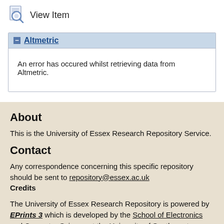[Figure (logo): View Item icon with magnifying glass on document]
View Item
Altmetric
An error has occured whilst retrieving data from Altmetric.
About
This is the University of Essex Research Repository Service.
Contact
Any correspondence concerning this specific repository should be sent to repository@essex.ac.uk
Credits
The University of Essex Research Repository is powered by EPrints 3 which is developed by the School of Electronics and Computer Science at the University of Southampton. More information and software credits.